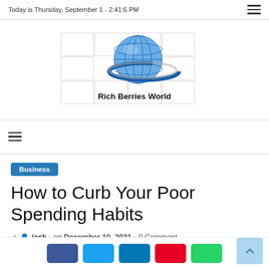Today is Thursday, September 1 - 2:41:6 PM
[Figure (logo): Rich Berries World logo — globe with blue ring and gridlines, text 'Rich Berries World' below, overlaid on faint grid-box background]
≡ (hamburger navigation menu icon)
Business
How to Curb Your Poor Spending Habits
✓ 👤 jack › on December 10, 2021 › 0 Comment